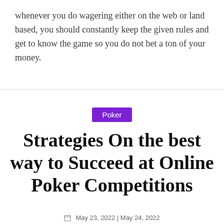whenever you do wagering either on the web or land based, you should constantly keep the given rules and get to know the game so you do not bet a ton of your money.
Poker
Strategies On the best way to Succeed at Online Poker Competitions
May 23, 2022 | May 24, 2022